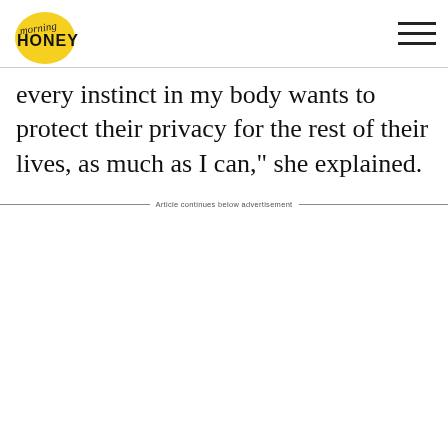morning HONEY
every instinct in my body wants to protect their privacy for the rest of their lives, as much as I can," she explained.
Article continues below advertisement